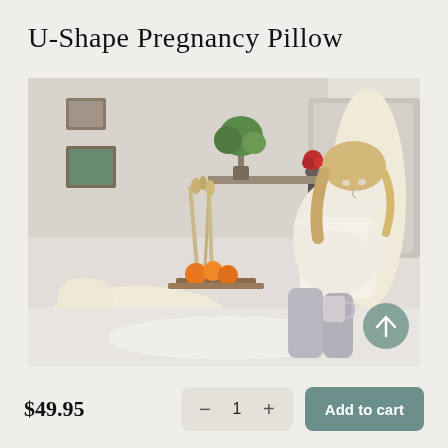U-Shape Pregnancy Pillow
[Figure (photo): A pregnant woman sitting comfortably on a bed using a large U-shaped cream/ivory pregnancy pillow. She is wearing a white top and grey pants, holding a mug. The bedroom setting includes framed pictures on the wall, a plant, a vase with red flowers, and oranges on a tray. A circular teal scroll-up arrow button is visible in the lower right of the image.]
$49.95
− 1 +
Add to cart